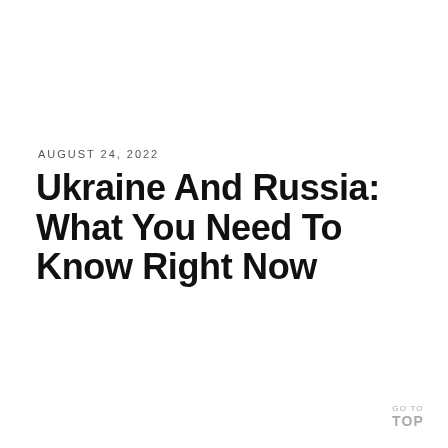AUGUST 24, 2022
Ukraine And Russia: What You Need To Know Right Now
GO TO
TOP